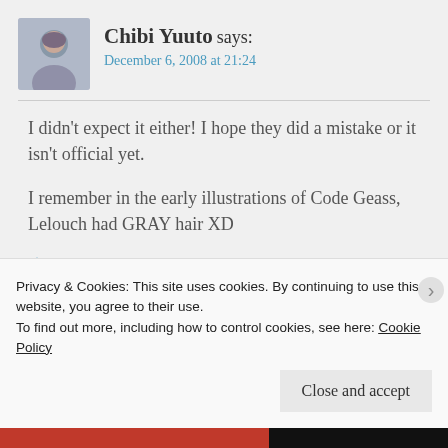Chibi Yuuto says: December 6, 2008 at 21:24
I didn't expect it either! I hope they did a mistake or it isn't official yet.

I remember in the early illustrations of Code Geass, Lelouch had GRAY hair XD
★ Like
Privacy & Cookies: This site uses cookies. By continuing to use this website, you agree to their use.
To find out more, including how to control cookies, see here: Cookie Policy
Close and accept